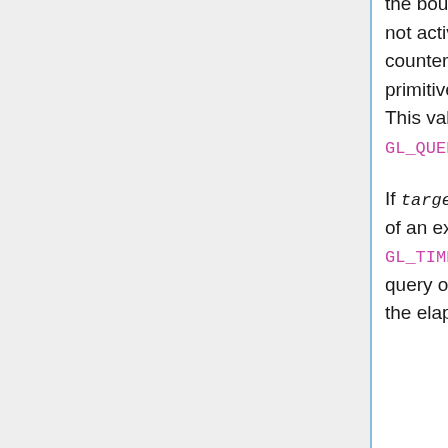the bound transform feedback buffer(s). If transform feedback mode is not activated between the call to glBeginQuery and glEndQuery, the counter will not be incremented. When glEndQuery is executed, the primitives-written counter is assigned to the query object's result value. This value can be queried by calling glGetQueryObject with pname GL_QUERY_RESULT.
If target is GL_TIME_ELAPSED, id must be an unused name, or the name of an existing timer query object previously bound to the GL_TIME_ELAPSED query binding. When glBeginQuery is executed, the query object's time counter is reset to 0. When glEndQuery is executed, the elapsed server time that has passed